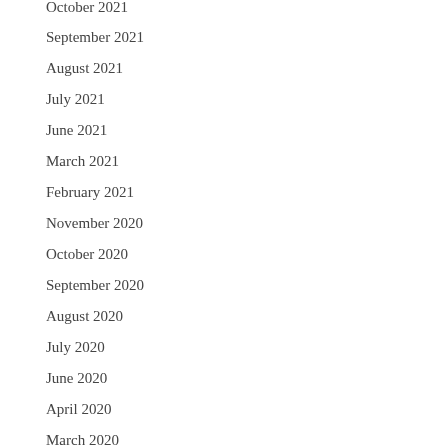October 2021
September 2021
August 2021
July 2021
June 2021
March 2021
February 2021
November 2020
October 2020
September 2020
August 2020
July 2020
June 2020
April 2020
March 2020